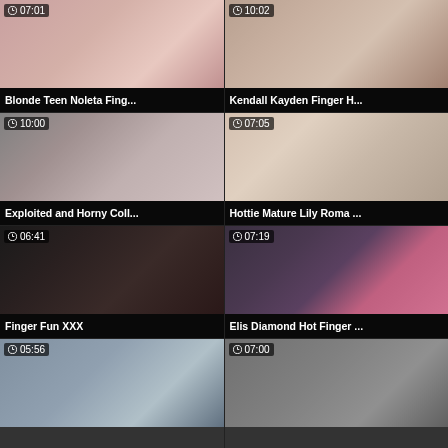[Figure (screenshot): Video thumbnail grid showing adult video titles with durations. Top-left: Blonde Teen Noleta Fing... 07:01. Top-right: Kendall Kayden Finger H... 10:02. Middle-left: Exploited and Horny Coll... 10:00. Middle-right: Hottie Mature Lily Roma ... 07:05. Bottom-left: Finger Fun XXX 06:41. Bottom-right: Elis Diamond Hot Finger ... 07:19. Partial bottom row visible with 05:56 and 07:00.]